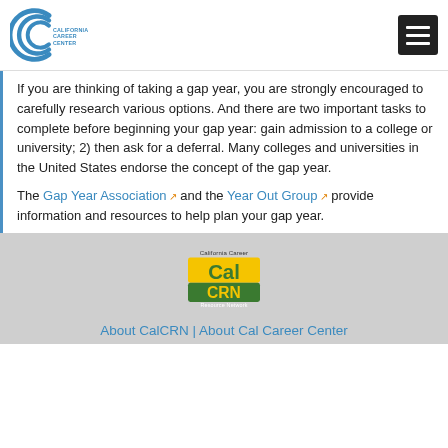California Career Center
If you are thinking of taking a gap year, you are strongly encouraged to carefully research various options. And there are two important tasks to complete before beginning your gap year: gain admission to a college or university; 2) then ask for a deferral. Many colleges and universities in the United States endorse the concept of the gap year.
The Gap Year Association and the Year Out Group provide information and resources to help plan your gap year.
[Figure (logo): California Career CalCRN Resource Network logo]
About CalCRN | About Cal Career Center